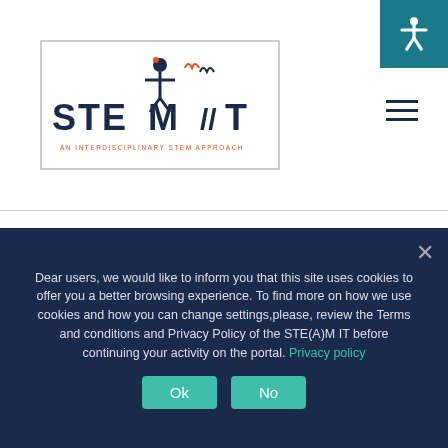[Figure (logo): STEAM IT logo — 'AN INTERDISCIPLINARY STEM APPROACH' with stylized figure and flame icons]
—
Read about the STEM Alliance & #STEAMIT_project #SDC22 "STEM Professionals Go Back to School" competition!
🔍 Until 30 April, visit the STE(A)M IT portal & discover how to
Dear users, we would like to inform you that this site uses cookies to offer you a better browsing experience. To find more on how we use cookies and how you can change settings,please, review the Terms and conditions and Privacy Policy of the STE(A)M IT before continuing your activity on the portal. Privacy policy